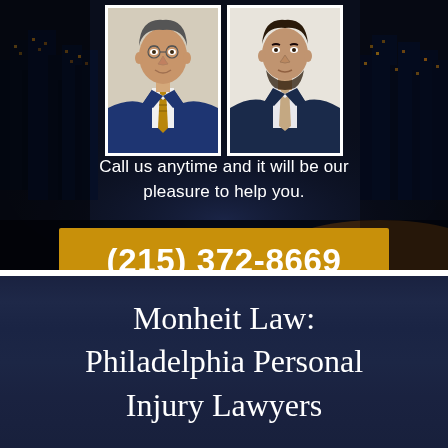[Figure (photo): Two professional headshots of male attorneys in suits and ties, displayed side by side against a city night skyline background with orange ambient glow on the right side.]
Call us anytime and it will be our pleasure to help you.
(215) 372-8669
Monheit Law: Philadelphia Personal Injury Lawyers